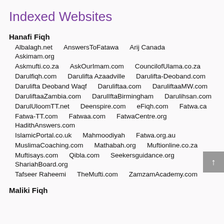Indexed Websites
Hanafi Fiqh
Albalagh.net
AnswersToFatawa
Arij Canada
Askimam.org
Askmufti.co.za
AskOurImam.com
CouncilofUlama.co.za
Darulfiqh.com
Darulifta Azaadville
Darulifta-Deoband.com
Darulifta Deoband Waqf
Daruliftaa.com
DaruliftaaMW.com
DaruliftaaZambia.com
DarulIftaBirmingham
Darulihsan.com
DarulUloomTT.net
Deenspire.com
eFiqh.com
Fatwa.ca
Fatwa-TT.com
Fatwaa.com
FatwaCentre.org
HadithAnswers.com
IslamicPortal.co.uk
Mahmoodiyah
Fatwa.org.au
MuslimaCoaching.com
Mathabah.org
Muftionline.co.za
Muftisays.com
Qibla.com
Seekersguidance.org
ShariahBoard.org
Tafseer Raheemi
TheMufti.com
ZamzamAcademy.com
Maliki Fiqh